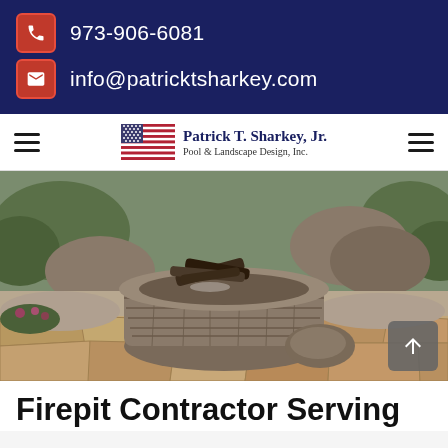973-906-6081
info@patricksharkey.com
[Figure (logo): Patrick T. Sharkey, Jr. Pool & Landscape Design, Inc. logo with American flag]
[Figure (photo): Stone fire pit on a flagstone patio surrounded by gravel and greenery]
Firepit Contractor Serving